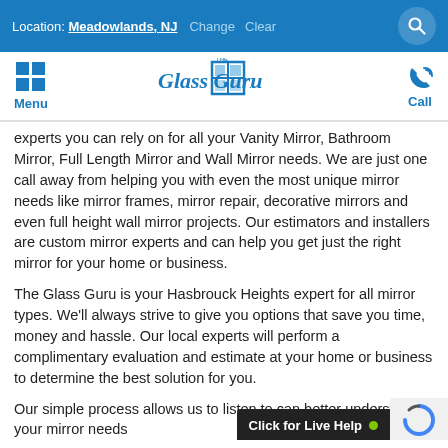Location: Meadowlands, NJ  Change  Clear
[Figure (logo): The Glass Guru logo with stylized text and blue window pane icon]
experts you can rely on for all your Vanity Mirror, Bathroom Mirror, Full Length Mirror and Wall Mirror needs. We are just one call away from helping you with even the most unique mirror needs like mirror frames, mirror repair, decorative mirrors and even full height wall mirror projects. Our estimators and installers are custom mirror experts and can help you get just the right mirror for your home or business.
The Glass Guru is your Hasbrouck Heights expert for all mirror types. We'll always strive to give you options that save you time, money and hassle. Our local experts will perform a complimentary evaluation and estimate at your home or business to determine the best solution for you.
Our simple process allows us to listen to can better understand your mirror needs